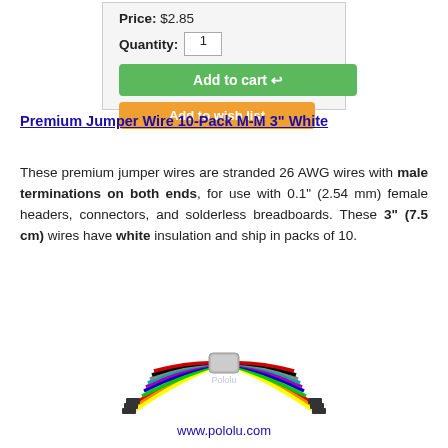[Figure (screenshot): Product purchase box showing Price: $2.85, Quantity: 1 input, Add to cart button (green), Add to wish list button (orange)]
Premium Jumper Wire 10-Pack M-M 3" White
These premium jumper wires are stranded 26 AWG wires with male terminations on both ends, for use with 0.1" (2.54 mm) female headers, connectors, and solderless breadboards. These 3" (7.5 cm) wires have white insulation and ship in packs of 10.
[Figure (photo): Photo of a bundle of multi-colored premium jumper wires fanned out in a semi-circle with www.pololu.com watermark]